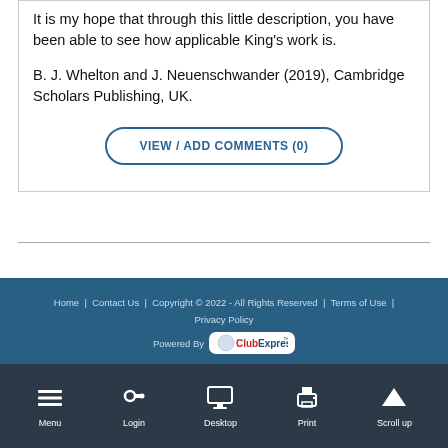It is my hope that through this little description, you have been able to see how applicable King's work is.
B. J. Whelton and J. Neuenschwander (2019), Cambridge Scholars Publishing, UK.
VIEW / ADD COMMENTS (0)
Home | Contact Us | Copyright © 2022 - All Rights Reserved | Terms of Use | Privacy Policy
Powered By ClubExpress
Menu Login Desktop Print Scroll up